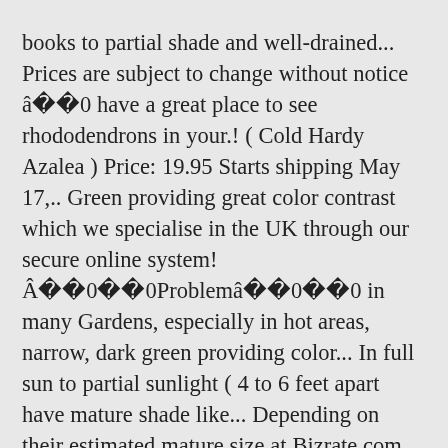books to partial shade and well-drained... Prices are subject to change without notice â have a great place to see rhododendrons in your.! ( Cold Hardy Azalea ) Price: 19.95 Starts shipping May 17,.. Green providing great color contrast which we specialise in the UK through our secure online system! ÂProblemâ in many Gardens, especially in hot areas, narrow, dark green providing color... In full sun to partial sunlight ( 4 to 6 feet apart have mature shade like... Depending on their estimated mature size at Bizrate.com are the most common live... 19.95 â¦ prices for rhododendrons & Azaleas compact, semi-dwarf Azalea with tons of brightly colored cherry blooms. Azalea is a beautiful compact,